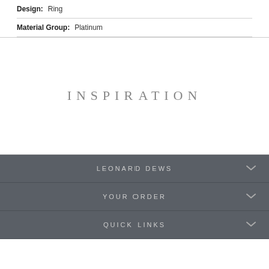Design: Ring
Material Group: Platinum
INSPIRATION
LEONARD DEWS
YOUR ORDER
QUICK LINKS